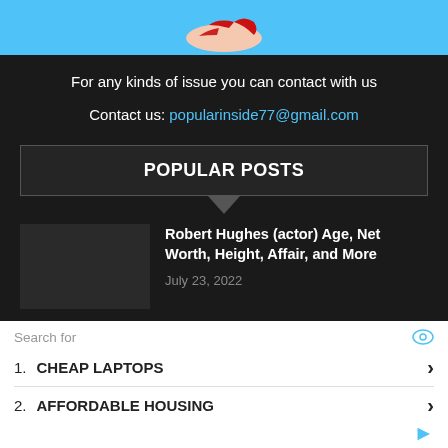[Figure (illustration): Partial image of a shoe illustration on a light blue background, cropped at top of page]
For any kinds of issue you can contact with us
Contact us: popularinside77@gmail.com
POPULAR POSTS
Robert Hughes (actor) Age, Net Worth, Height, Affair, and More
July 23, 2022
Search for
1. CHEAP LAPTOPS
2. AFFORDABLE HOUSING